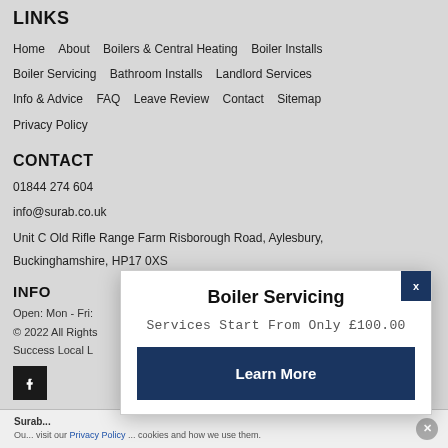LINKS
Home   About   Boilers & Central Heating   Boiler Installs   Boiler Servicing   Bathroom Installs   Landlord Services   Info & Advice   FAQ   Leave Review   Contact   Sitemap   Privacy Policy
CONTACT
01844 274 604
info@surab.co.uk
Unit C Old Rifle Range Farm Risborough Road, Aylesbury, Buckinghamshire, HP17 0XS
INFO
Open: Mon - Fri:
© 2022 All Rights Success Local L
[Figure (logo): Facebook icon - white F on dark background]
[Figure (screenshot): Modal popup with title Boiler Servicing, subtitle Services Start From Only £100.00, and a Learn More button]
Surab... Our ... visit our Privacy Policy ... cookies and how we use them.